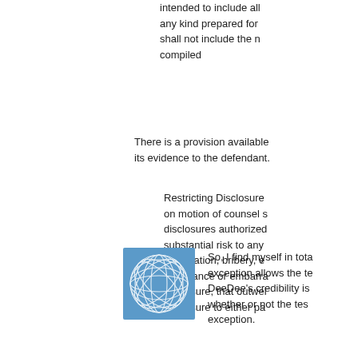intended to include all any kind prepared for shall not include the n compiled
There is a provision available its evidence to the defendant.
Restricting Disclosure on motion of counsel s disclosures authorized substantial risk to any intimidation, bribery, e annoyance or embarra disclosure, that outwei disclosure to either pa
[Figure (logo): Blue geometric sphere/globe logo with grid pattern on square background]
So, I find myself in tota exception allows the te DeeDee's credibility is whether or not the tes exception.